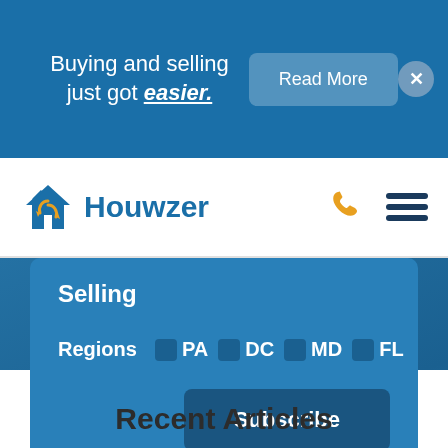Buying and selling just got easier.
Read More
[Figure (logo): Houwzer logo with house icon and text]
Selling
Regions  PA  DC  MD  FL
Subscribe
Recent Articles